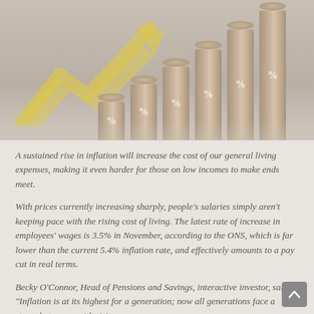[Figure (photo): Photo of wooden cylindrical bars/columns with percentage symbols, arranged in ascending height like a bar chart, with a yellow arrow pointing upward to the right, on a light background. Represents inflation or rising rates.]
A sustained rise in inflation will increase the cost of our general living expenses, making it even harder for those on low incomes to make ends meet.
With prices currently increasing sharply, people's salaries simply aren't keeping pace with the rising cost of living. The latest rate of increase in employees' wages is 3.5% in November, according to the ONS, which is far lower than the current 5.4% inflation rate, and effectively amounts to a pay cut in real terms.
Becky O'Connor, Head of Pensions and Savings, interactive investor, said: "Inflation is at its highest for a generation; now all generations face a struggle to cope with rising